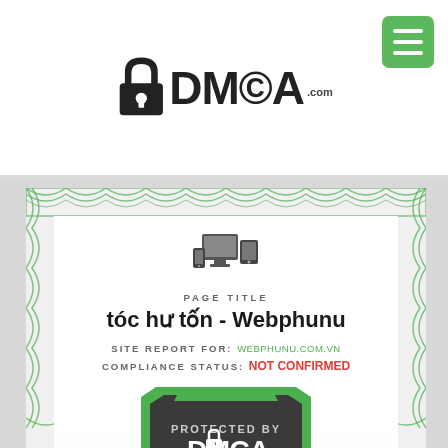[Figure (logo): DMCA.com logo with padlock icon and green menu button in top right]
[Figure (illustration): DMCA certificate with green guilloche border pattern, device icons, page title, site report URL, compliance status, and DMCA protection badge]
PAGE TITLE
tóc hư tốn - Webphunu
SITE REPORT FOR: webphunu.com.vn
COMPLIANCE STATUS: Not confirmed
PROTECTED BY
DMCA PROTECTION SERVICES